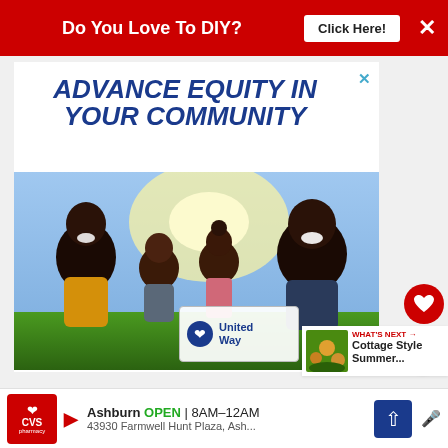[Figure (screenshot): Red top banner advertisement: 'Do You Love To DIY?' with 'Click Here!' button and X close button on white background with red color scheme]
[Figure (screenshot): United Way advertisement showing 'Advance Equity In Your Community' headline in bold blue italic text above a photo of a happy smiling Black family (woman, two children, man) outdoors with sunlight, with United Way logo in bottom right of photo. Blue X close button top right.]
[Figure (screenshot): Right sidebar with red circular heart/love button, white circular share button with share icon, and 'What's Next' panel showing thumbnail of Cottage Style Summer article]
The other side of the house just had a run...
[Figure (screenshot): CVS Pharmacy bottom banner ad: Ashburn OPEN 8AM-12AM, 43930 Farmwell Hunt Plaza, Ash... with CVS logo, play button, navigation arrow, and microphone icon]